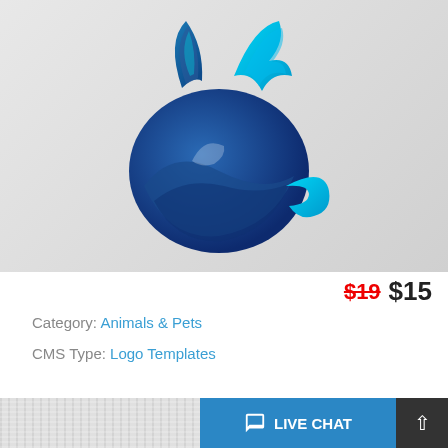[Figure (logo): Blue stylized cat/animal logo on light grey gradient background. The logo shows a dark blue circular body with cyan/turquoise abstract flowing shapes forming a cat-like figure with ears and tail.]
$19 $15
Category: Animals & Pets
CMS Type: Logo Templates
LIVE CHAT